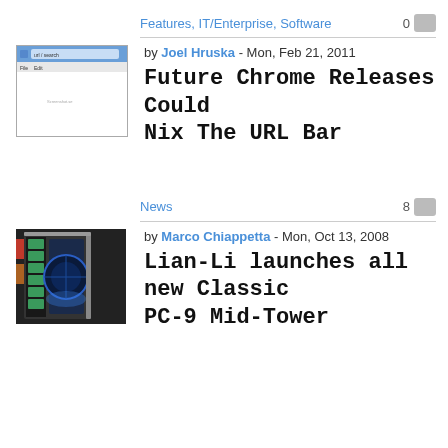Features, IT/Enterprise, Software
0
by Joel Hruska - Mon, Feb 21, 2011
[Figure (screenshot): Screenshot of a browser window with a URL bar]
Future Chrome Releases Could Nix The URL Bar
News
8
by Marco Chiappetta - Mon, Oct 13, 2008
[Figure (photo): Photo of a Lian-Li PC-9 Mid-Tower computer case]
Lian-Li launches all new Classic PC-9 Mid-Tower